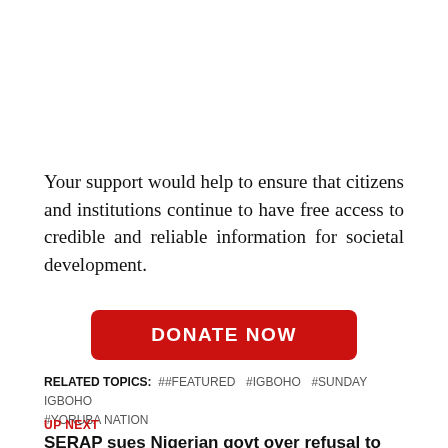Your support would help to ensure that citizens and institutions continue to have free access to credible and reliable information for societal development.
[Figure (other): Red donate button with white text reading DONATE NOW]
RELATED TOPICS: ##FEATURED #IGBOHO #SUNDAY IGBOHO #YORUBA NATION
UP NEXT
SERAP sues Nigerian govt over refusal to